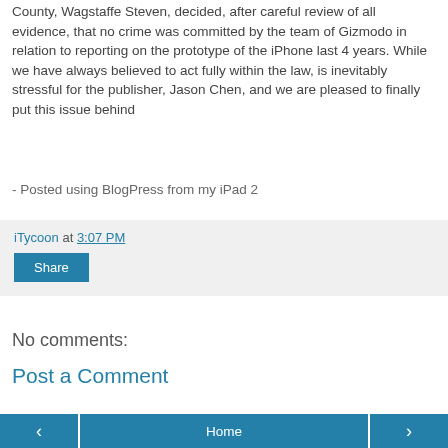County, Wagstaffe Steven, decided, after careful review of all evidence, that no crime was committed by the team of Gizmodo in relation to reporting on the prototype of the iPhone last 4 years. While we have always believed to act fully within the law, is inevitably stressful for the publisher, Jason Chen, and we are pleased to finally put this issue behind
- Posted using BlogPress from my iPad 2
iTycoon at 3:07 PM
Share
No comments:
Post a Comment
‹  Home  ›